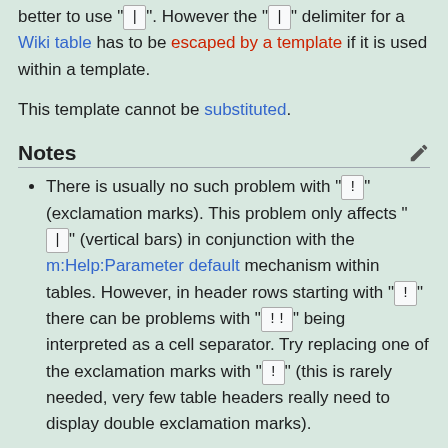better to use " &#124; ". However the " | " delimiter for a Wiki table has to be escaped by a template if it is used within a template.
This template cannot be substituted.
Notes
There is usually no such problem with " ! " (exclamation marks). This problem only affects " | " (vertical bars) in conjunction with the m:Help:Parameter default mechanism within tables. However, in header rows starting with " ! " there can be problems with " !! " being interpreted as a cell separator. Try replacing one of the exclamation marks with " &#33; " (this is rarely needed, very few table headers really need to display double exclamation marks).